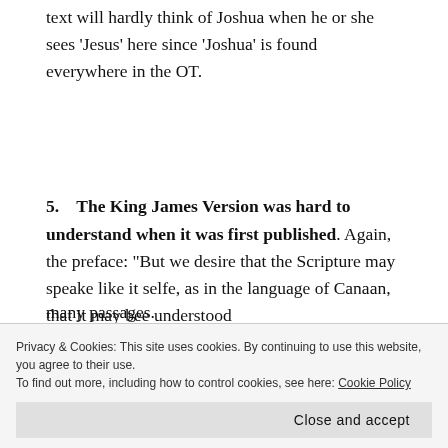text will hardly think of Joshua when he or she sees ‘Jesus’ here since ‘Joshua’ is found everywhere in the OT.
5. The King James Version was hard to understand when it was first published. Again, the preface: “But we desire that the Scripture may speake like it selfe, as in the language of Canaan, that it may bee understood
many passages.
Privacy & Cookies: This site uses cookies. By continuing to use this website, you agree to their use. To find out more, including how to control cookies, see here: Cookie Policy